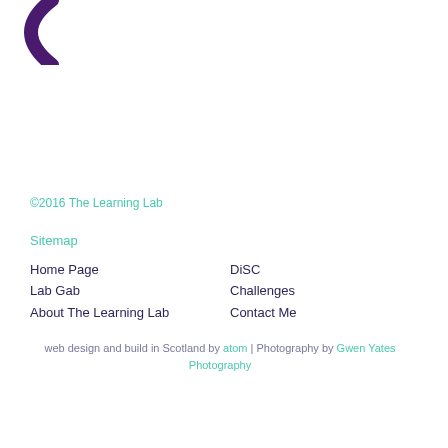[Figure (logo): Purple arc/parenthesis logo mark in top-left corner]
©2016 The Learning Lab
Sitemap
Home Page
Lab Gab
About The Learning Lab
DiSC
Challenges
Contact Me
web design and build in Scotland by atom | Photography by Gwen Yates Photography